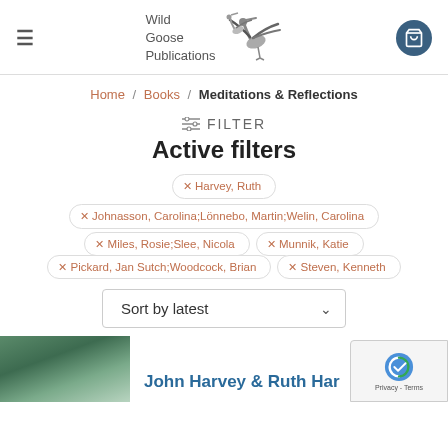Wild Goose Publications
Home / Books / Meditations & Reflections
FILTER
Active filters
x Harvey, Ruth
x Johnasson, Carolina;Lönnebo, Martin;Welin, Carolina
x Miles, Rosie;Slee, Nicola
x Munnik, Katie
x Pickard, Jan Sutch;Woodcock, Brian
x Steven, Kenneth
Sort by latest
John Harvey & Ruth Har...